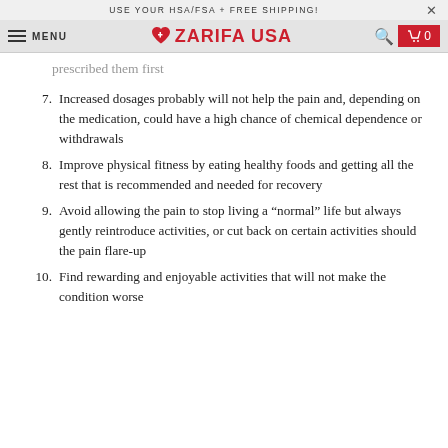USE YOUR HSA/FSA + FREE SHIPPING!
ZARIFA USA — MENU — search — cart 0
prescribed them first
7. Increased dosages probably will not help the pain and, depending on the medication, could have a high chance of chemical dependence or withdrawals
8. Improve physical fitness by eating healthy foods and getting all the rest that is recommended and needed for recovery
9. Avoid allowing the pain to stop living a “normal” life but always gently reintroduce activities, or cut back on certain activities should the pain flare-up
10. Find rewarding and enjoyable activities that will not make the condition worse